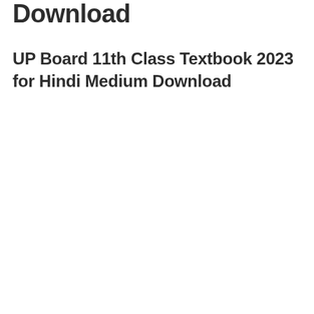Download
UP Board 11th Class Textbook 2023 for Hindi Medium Download